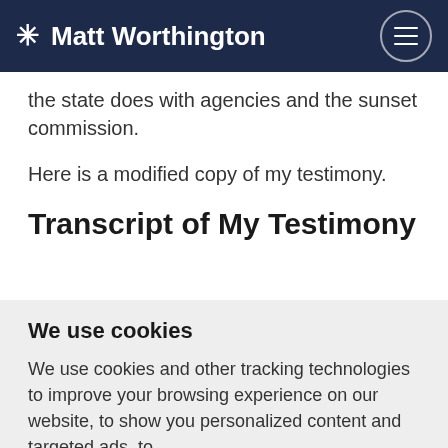Matt Worthington
the state does with agencies and the sunset commission.
Here is a modified copy of my testimony.
Transcript of My Testimony
We use cookies
We use cookies and other tracking technologies to improve your browsing experience on our website, to show you personalized content and targeted ads, to